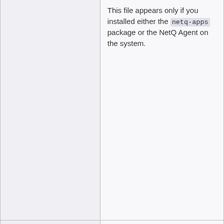| File | Description |
| --- | --- |
| (continued from previous) | This file appears only if you installed either the netq-apps package or the NetQ Agent on the system. |
| /var/log/netqd.log | The NetQ daemon log file for the NetQ CLI. This log file appears only if you installed the netq-apps package on the system. |
| /var/log/netq-agent.log | The NetQ Agent log file. This log file appears only if |